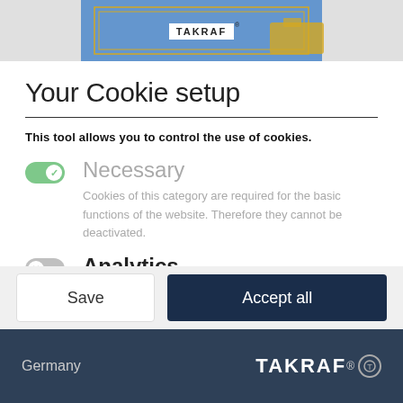[Figure (screenshot): Top banner showing TAKRAF website header with blue sky background and construction equipment]
Your Cookie setup
This tool allows you to control the use of cookies.
Necessary
Cookies of this category are required for the basic functions of the website. Therefore they cannot be deactivated.
Analytics
Functional cookies enable us to analyse the use of the
Save
Accept all
Germany  TAKRAF